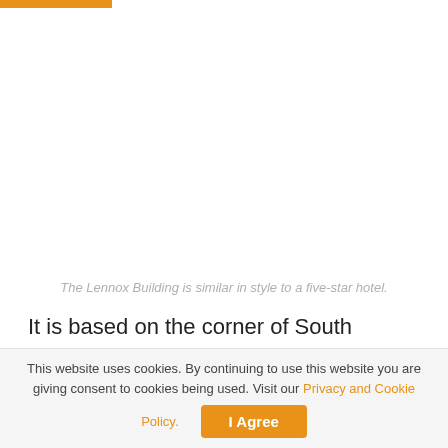[Figure (photo): Photograph of the Lennox Building exterior, similar in style to a five-star hotel. Large white/grey area representing the building image.]
The Lennox Building is similar in style to a five-star hotel.
It is based on the corner of South Richmond and Lennox Street, sited within close proximity to highly established office districts such as Hatch Street and Harcourt Street. Iconic is proud to bring this exclusive commercial property to the Dublin market. increasing their portfolio to a notable
This website uses cookies. By continuing to use this website you are giving consent to cookies being used. Visit our Privacy and Cookie Policy.